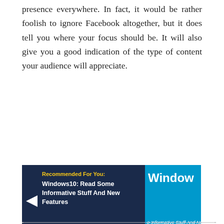presence everywhere. In fact, it would be rather foolish to ignore Facebook altogether, but it does tell you where your focus should be. It will also give you a good indication of the type of content your audience will appreciate.
[Figure (screenshot): Advertisement banner with dark navy background showing 'Recommended For You: Windows10: Read Some Informative Stuff And New Features' on the left and a blue panel with 'Window' text and 'e Informative Stuff And Ne' subtitle on the right]
Use Tools To Create Schedule Publish And Promote: